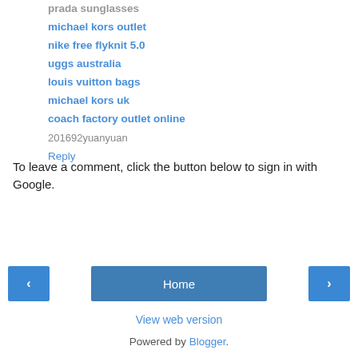prada sunglasses
michael kors outlet
nike free flyknit 5.0
uggs australia
louis vuitton bags
michael kors uk
coach factory outlet online
201692yuanyuan
Reply
To leave a comment, click the button below to sign in with Google.
[Figure (other): SIGN IN WITH GOOGLE button — a blue rectangular button with white bold uppercase text]
[Figure (other): Navigation row with left arrow button, Home button, and right arrow button]
View web version
Powered by Blogger.